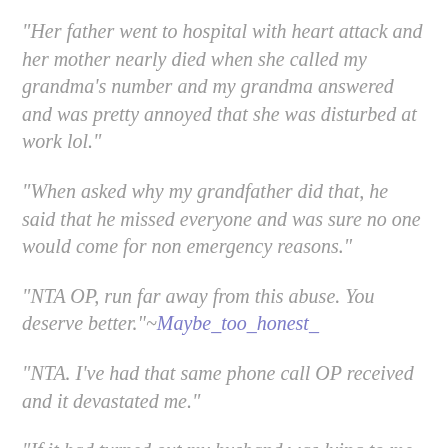“Her father went to hospital with heart attack and her mother nearly died when she called my grandma’s number and my grandma answered and was pretty annoyed that she was disturbed at work lol.”
“When asked why my grandfather did that, he said that he missed everyone and was sure no one would come for non emergency reasons.”
“NTA OP, run far away from this abuse. You deserve better.”~Maybe_too_honest_
“NTA. I’ve had that same phone call OP received and it devastated me.”
“If it had turned out my husband was lying to me